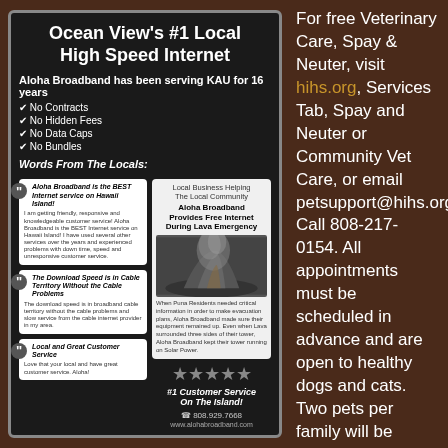[Figure (infographic): Aloha Broadband advertisement: dark background ad with title 'Ocean View's #1 Local High Speed Internet', checklist of benefits, customer testimonials, promo box with lava photo, 5 stars, phone/website, and logo.]
For free Veterinary Care, Spay & Neuter, visit hihs.org, Services Tab, Spay and Neuter or Community Vet Care, or email petsupport@hihs.org. Call 808-217-0154. All appointments must be scheduled in advance and are open to healthy dogs and cats. Two pets per family will be accommodated, each pet with own appointment. Unavailable to animals other than dogs and